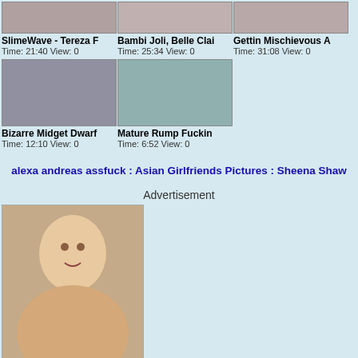[Figure (screenshot): Row of 3 video thumbnails with titles and metadata]
SlimeWave - Tereza F
Time: 21:40 View: 0
Bambi Joli, Belle Clai
Time: 25:34 View: 0
Gettin Mischievous A
Time: 31:08 View: 0
[Figure (screenshot): Row of 2 video thumbnails with titles and metadata]
Bizarre Midget Dwarf
Time: 12:10 View: 0
Mature Rump Fuckin
Time: 6:52 View: 0
alexa andreas assfuck : Asian Girlfriends Pictures : Sheena Shaw
Advertisement
[Figure (photo): Elderly blonde woman posing]